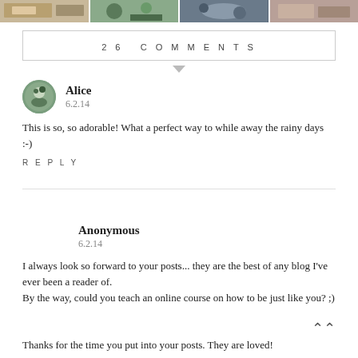[Figure (photo): Strip of four thumbnail photos at the top of the page]
26 COMMENTS
Alice
6.2.14
This is so, so adorable! What a perfect way to while away the rainy days :-)
REPLY
Anonymous
6.2.14
I always look so forward to your posts... they are the best of any blog I've ever been a reader of.
By the way, could you teach an online course on how to be just like you? ;)
Thanks for the time you put into your posts. They are loved!